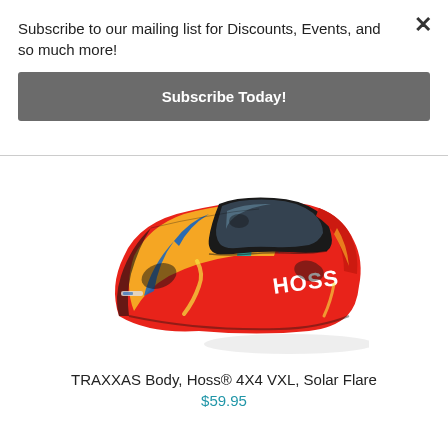Subscribe to our mailing list for Discounts, Events, and so much more!
Subscribe Today!
[Figure (photo): TRAXXAS Hoss 4X4 VXL RC truck body in Solar Flare color scheme — multicolor paint with red, orange, yellow, blue, and black angular design with HOSS branding]
TRAXXAS Body, Hoss® 4X4 VXL, Solar Flare
$59.95